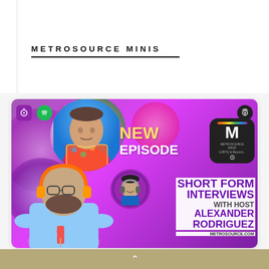METROSOURCE MINIS
[Figure (illustration): Podcast promotional card for Metrosource Minis podcast. Shows 'NEW EPISODE' text with podcast platform icons (Apple Podcasts, Spotify, iHeartRadio, and a radio icon). Features three people: a man in colorful shirt, a man with orange headphones, and a smaller host photo. Text reads 'SHORT FORM INTERVIEWS WITH HOST ALEXANDER RODRIGUEZ' and 'METROSOURCE.COM'. Metrosource Minis logo shown top right.]